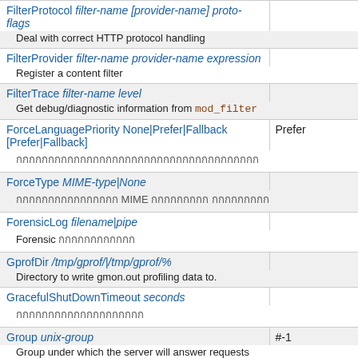| Directive | Default |
| --- | --- |
| FilterProtocol filter-name [provider-name] proto-flags |  |
| Deal with correct HTTP protocol handling |  |
| FilterProvider filter-name provider-name expression |  |
| Register a content filter |  |
| FilterTrace filter-name level |  |
| Get debug/diagnostic information from mod_filter |  |
| ForceLanguagePriority None|Prefer|Fallback [Prefer|Fallback] | Prefer |
| [Thai text] |  |
| ForceType MIME-type|None |  |
| [Thai text] MIME [Thai text] |  |
| ForensicLog filename|pipe |  |
| Forensic [Thai text] |  |
| GprofDir /tmp/gprof/|/tmp/gprof/% |  |
| Directory to write gmon.out profiling data to. |  |
| GracefulShutDownTimeout seconds |  |
| [Thai text] |  |
| Group unix-group | #-1 |
| Group under which the server will answer requests |  |
| Header [condition] set|append|add|unset|echo header [value] [early|env=[!]variable] |  |